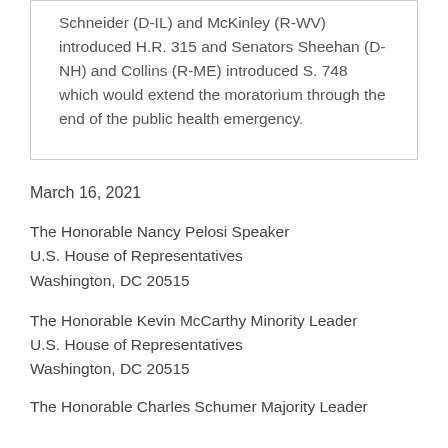Schneider (D-IL) and McKinley (R-WV) introduced H.R. 315 and Senators Sheehan (D-NH) and Collins (R-ME) introduced S. 748 which would extend the moratorium through the end of the public health emergency.
March 16, 2021
The Honorable Nancy Pelosi Speaker
U.S. House of Representatives
Washington, DC 20515
The Honorable Kevin McCarthy Minority Leader
U.S. House of Representatives
Washington, DC 20515
The Honorable Charles Schumer Majority Leader